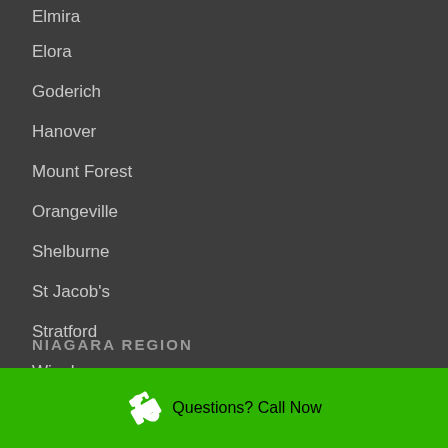Elmira
Elora
Goderich
Hanover
Mount Forest
Orangeville
Shelburne
St Jacob's
Stratford
Wingham
NIAGARA REGION
Questions? Call Now